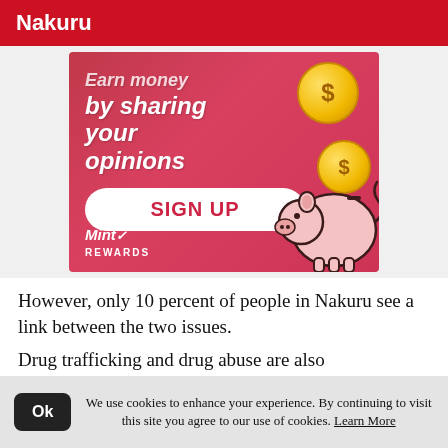Nakuru
[Figure (illustration): Advertisement banner for Mint Rewards showing text 'Earn money by sharing your opinions', a SIGN UP button, the Mint Rewards logo, gold coins, and a cartoon piggy bank on a red gradient background.]
However, only 10 percent of people in Nakuru see a link between the two issues.
Drug trafficking and drug abuse are also
We use cookies to enhance your experience. By continuing to visit this site you agree to our use of cookies. Learn More